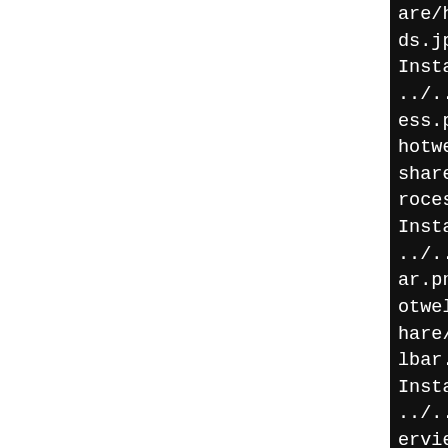are/help/es/shotwell/figu
ds.jpg
Installing symlink pointin
../../.C/shotwell/figure
ess.png to /tmp/B.iwf6hcwe
hotwell-0.30.16-i686-root-
share/help/es/shotwell/fig
rocess.png
Installing symlink pointin
../../.C/shotwell/figure
ar.png to /tmp/B.iwf6hcwe/
otwell-0.30.16-i686-root-b
hare/help/fr/shotwell/figu
lbar.png
Installing symlink pointin
../../.C/shotwell/figure
erview.png to /tmp/B.iwf6h
p/shotwell-0.30.16-i686-ro
sr/share/help/fr/shotwell/
ing_overview.png
Installing symlink pointin
../../.C/shotwell/figure
ogo.png to /tmp/B.iwf6hcwe
hotwell-0.30.16-i686-root